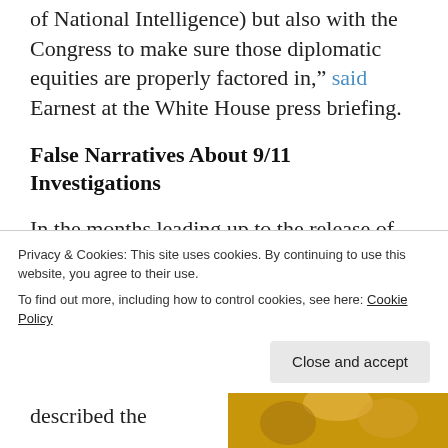of National Intelligence) but also with the Congress to make sure those diplomatic equities are properly factored in," said Earnest at the White House press briefing.
False Narratives About 9/11 Investigations
In the months leading up to the release of the pages, U.S. government officials and the chairs of the 9/11 Commission have been waging a public relations campaign aimed at creating doubt about the reliability of what’s in the 28
Privacy & Cookies: This site uses cookies. By continuing to use this website, you agree to their use.
To find out more, including how to control cookies, see here: Cookie Policy
described the